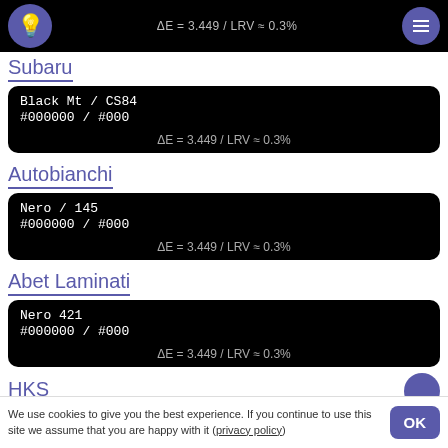#000000 / #000  ΔE = 3.449 / LRV ≈ 0.3%
Subaru
Black Mt / CS84
#000000 / #000
ΔE = 3.449 / LRV ≈ 0.3%
Autobianchi
Nero / 145
#000000 / #000
ΔE = 3.449 / LRV ≈ 0.3%
Abet Laminati
Nero 421
#000000 / #000
ΔE = 3.449 / LRV ≈ 0.3%
HKS
We use cookies to give you the best experience. If you continue to use this site we assume that you are happy with it (privacy policy)